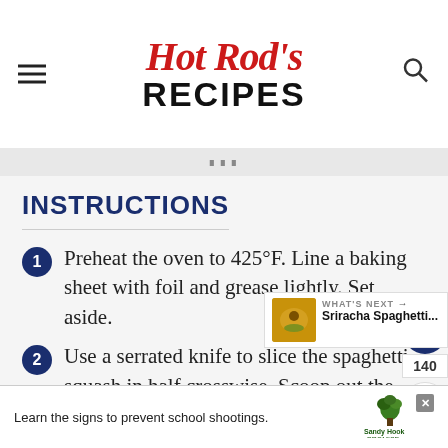Hot Rod's RECIPES
INSTRUCTIONS
Preheat the oven to 425°F. Line a baking sheet with foil and grease lightly. Set aside.
Use a serrated knife to slice the spaghetti squash in half crosswise. Scoop out the seeds with a s[poon]. Drizzle the inside of the halve[s] [with o]il and season with [salt]. lightly with olive oil and season with
[Figure (infographic): What's Next callout box showing Sriracha Spaghetti... with a food image thumbnail]
[Figure (infographic): Advertisement bar: Learn the signs to prevent school shootings. Sandy Hook Promise logo with tree graphic.]